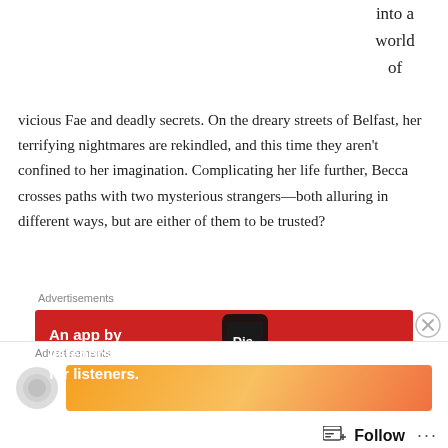into a world of
vicious Fae and deadly secrets. On the dreary streets of Belfast, her terrifying nightmares are rekindled, and this time they aren't confined to her imagination. Complicating her life further, Becca crosses paths with two mysterious strangers—both alluring in different ways, but are either of them to be trusted?
Advertisements
[Figure (other): Pocket Casts advertisement banner. Red background. Text: An app by listeners, for listeners. Pocket Casts logo on right. Phone image in center showing Disturbed album art.]
REPORT THIS AD
Her journey takes her deep into the treacherous Shadow Lands, where both her knowledge and courage will be tested. Navigating this new landscape of deceit and manipulation is paramount if she is to stop hordes of blood-thirsty Faeries from invading Earth. With time running
Advertisements
[Figure (other): Bottom advertisement banner with gradient orange/peach background, partially visible.]